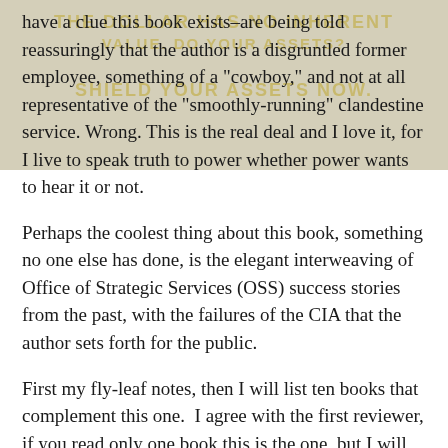[Figure (other): Watermark overlay with book title text: 'THE DOLLAR HAS NO INHERENT VALUE. DO YOUR ASSETS? SHIELD YOUR ASSETS NOW.' shown in gold/tan text on a grey-tan background banner.]
have a clue this book exists–are being told reassuringly that the author is a disgruntled former employee, something of a "cowboy," and not at all representative of the "smoothly-running" clandestine service. Wrong. This is the real deal and I love it, for I live to speak truth to power whether power wants to hear it or not.
Perhaps the coolest thing about this book, something no one else has done, is the elegant interweaving of Office of Strategic Services (OSS) success stories from the past, with the failures of the CIA that the author sets forth for the public.
First my fly-leaf notes, then I will list ten books that complement this one.  I agree with the first reviewer, if you read only one book this is the one, but I will suggest others where you can read my summaries and form a better bigger picture.+ The author takes the time to say this is not an attack